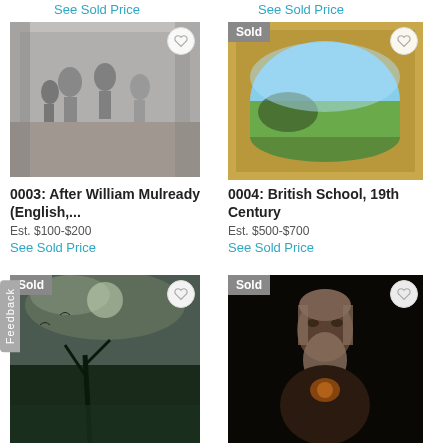See Sold Price
See Sold Price
[Figure (photo): Black and white painting showing a group of figures including children and adults in an interior scene, after William Mulready.]
0003: After William Mulready (English,...
Est. $100-$200
See Sold Price
[Figure (photo): Painting of a landscape with water and sky in an ornate oval gold frame. Sold badge visible.]
0004: British School, 19th Century
Est. $500-$700
See Sold Price
[Figure (photo): Dark landscape painting with stormy sky, twisted trees and birds. Sold badge visible.]
[Figure (photo): Dark portrait painting of an elderly bearded man. Sold badge visible.]